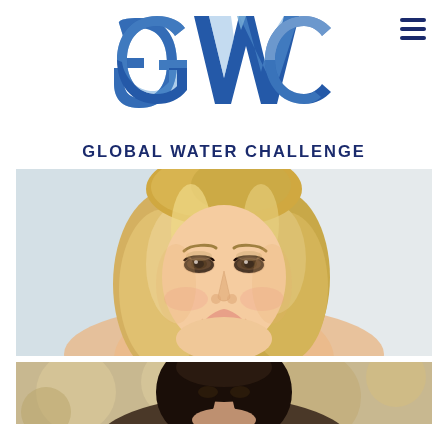[Figure (logo): GWC Global Water Challenge logo — large blue stylized letters G, W, C with layered blue shades]
GLOBAL WATER CHALLENGE
[Figure (photo): Close-up portrait photo of a smiling blonde woman with wavy hair and makeup, light blue/grey background]
[Figure (photo): Partial photo of a dark-haired woman against a warm blurred background, cropped at bottom of page]